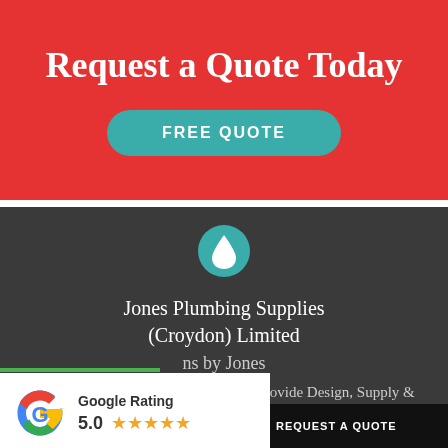Request a Quote Today
FREE QUOTE
[Figure (logo): Water drop icon in teal circle]
Jones Plumbing Supplies (Croydon) Limited
ns by Jones
e design at affordable prices. We can provide Design, Supply &
[Figure (logo): Google Rating badge showing 5.0 stars with Google G logo]
REQUEST A CALLBACK   REQUEST A QUOTE